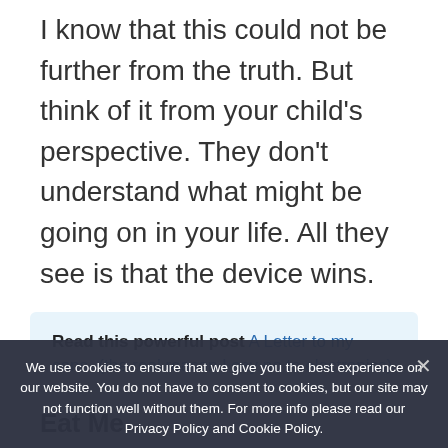I know that this could not be further from the truth. But think of it from your child's perspective. They don't understand what might be going on in your life. All they see is that the device wins.
Read this powerful post A Letter to my sons- (the real reason I say no to electronics)
Eat Me...
Shared meals help children feel stable and secure. They automatically provide family
We use cookies to ensure that we give you the best experience on our website. You do not have to consent to cookies, but our site may not function well without them. For more info please read our Privacy Policy and Cookie Policy.